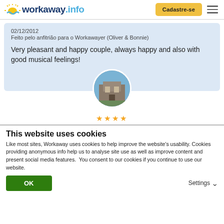workaway.info | Cadastre-se
02/12/2012
Feito pelo anfitrião para o Workawayer (Oliver & Bonnie)
Very pleasant and happy couple, always happy and also with good musical feelings!
[Figure (photo): Circular avatar photo showing a stone building with blue sky background]
This website uses cookies
Like most sites, Workaway uses cookies to help improve the website's usability. Cookies providing anonymous info help us to analyse site use as well as improve content and present social media features.  You consent to our cookies if you continue to use our website.
OK | Settings